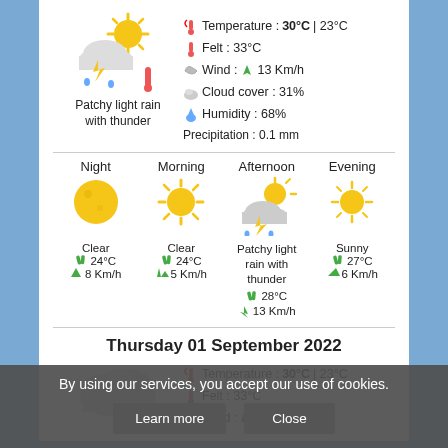[Figure (infographic): Weather icon: sun behind cloud with lightning and rain drops (Patchy light rain with thunder)]
Patchy light rain with thunder
Temperature : 30°C | 23°C
Felt : 33°C
Wind : 🟢⬆ 13 Km/h
Cloud cover : 31%
Humidity : 68%
Precipitation : 0.1 mm
Night | Morning | Afternoon | Evening
[Figure (infographic): Night: full moon. Morning: sunny. Afternoon: patchy light rain with thunder. Evening: sunny.]
Clear
🌡 24°C
💨 8 Km/h
Clear
🌡 24°C
💨 5 Km/h
Patchy light rain with thunder
🌡 28°C
💨 13 Km/h
Sunny
🌡 27°C
💨 6 Km/h
Thursday 01 September 2022
[Figure (infographic): Weather icon: overcast clouds]
Temperature : 30°C | 23°C
Felt : 33°C
Wind : 🟢 14 Km/h
By using our services, you accept our use of cookies.
Learn more    Close